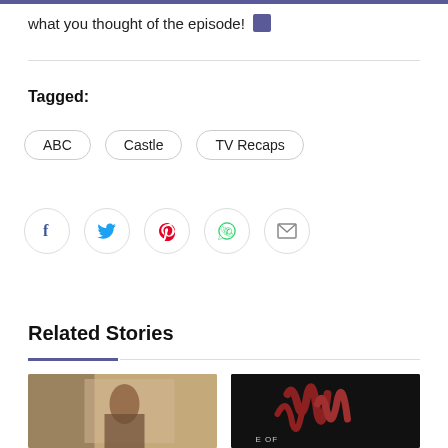what you thought of the episode!
Tagged:
ABC
Castle
TV Recaps
[Figure (infographic): Social sharing buttons: Facebook, Twitter, Pinterest, WhatsApp, Email]
Related Stories
[Figure (photo): Photo of a woman in a room - TV show still image]
[Figure (photo): Dark image with red/copper tentacle-like shapes with text overlay]